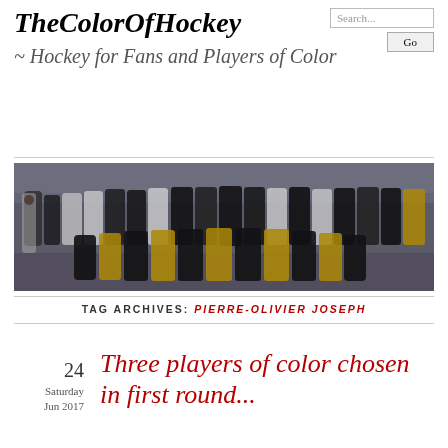TheColorOfHockey
~ Hockey for Fans and Players of Color
[Figure (photo): Group photo of a hockey team on ice rink, players wearing black and gold jerseys along with white jerseys, with a referee on the left side.]
TAG ARCHIVES: PIERRE-OLIVIER JOSEPH
24
Saturday
Jun 2017
Three players of color chosen in first round...